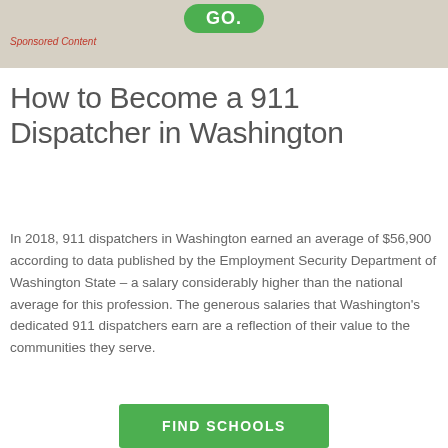[Figure (other): Top banner with green GO button on beige/tan background]
Sponsored Content
How to Become a 911 Dispatcher in Washington
In 2018, 911 dispatchers in Washington earned an average of $56,900 according to data published by the Employment Security Department of Washington State – a salary considerably higher than the national average for this profession. The generous salaries that Washington's dedicated 911 dispatchers earn are a reflection of their value to the communities they serve.
[Figure (other): Green FIND SCHOOLS button at bottom]